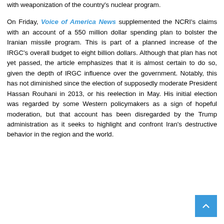with weaponization of the country's nuclear program.

On Friday, Voice of America News supplemented the NCRI's claims with an account of a 550 million dollar spending plan to bolster the Iranian missile program. This is part of a planned increase of the IRGC's overall budget to eight billion dollars. Although that plan has not yet passed, the article emphasizes that it is almost certain to do so, given the depth of IRGC influence over the government. Notably, this has not diminished since the election of supposedly moderate President Hassan Rouhani in 2013, or his reelection in May. His initial election was regarded by some Western policymakers as a sign of hopeful moderation, but that account has been disregarded by the Trump administration as it seeks to highlight and confront Iran's destructive behavior in the region and the world.